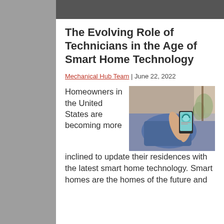The Evolving Role of Technicians in the Age of Smart Home Technology
Mechanical Hub Team | June 22, 2022
Homeowners in the United States are becoming more inclined to update their residences with the latest smart home technology. Smart homes are the homes of the future and
[Figure (photo): Person lying on a couch using a smartphone displaying a smart home control interface, with a plant visible in the background.]